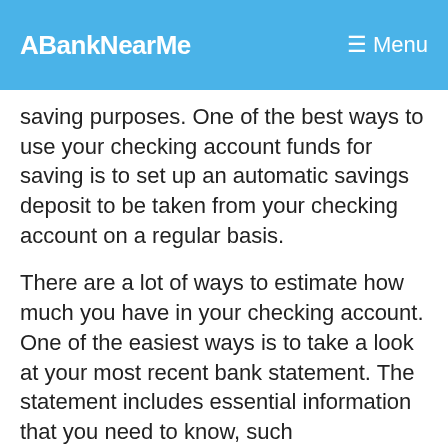ABankNearMe  Menu
saving purposes. One of the best ways to use your checking account funds for saving is to set up an automatic savings deposit to be taken from your checking account on a regular basis.
There are a lot of ways to estimate how much you have in your checking account. One of the easiest ways is to take a look at your most recent bank statement. The statement includes essential information that you need to know, such
Savings Account